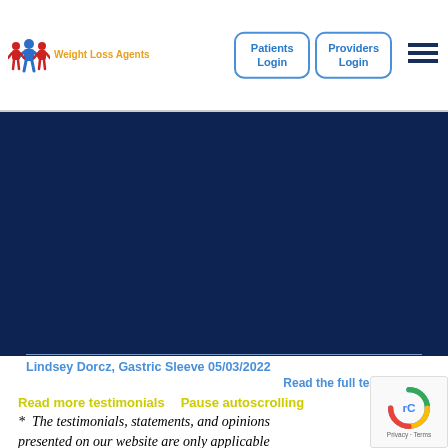[Figure (logo): Weight Loss Agents logo with icon of people figures in red and blue, text in orange]
Patients Login
Providers Login
[Figure (illustration): Dark navy blue background area, likely a hero image or video placeholder]
Lindsey Dorcz, Gastric Sleeve 05/03/2022
Read the full testimonial
Read more testimonials   Pause autoscrolling
* The testimonials, statements, and opinions presented on our website are only applicable individuals depicted, and may not be represe of the experience of others. For more information